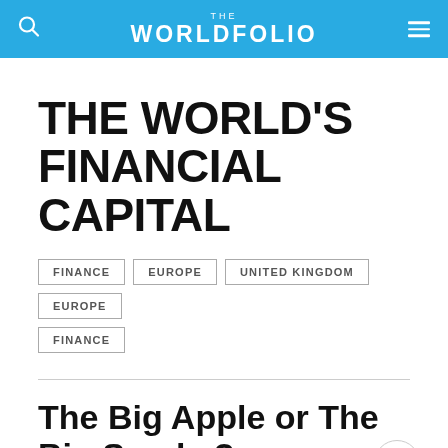THE WORLDFOLIO
THE WORLD'S FINANCIAL CAPITAL
FINANCE
EUROPE
UNITED KINGDOM
EUROPE
FINANCE
The Big Apple or The Big Smoke?